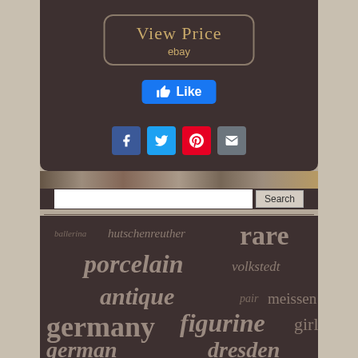[Figure (screenshot): View Price ebay button with rounded rectangle border on dark brown background]
[Figure (screenshot): Facebook Like button (blue)]
[Figure (screenshot): Social sharing icons: Facebook, Twitter, Pinterest, Email]
[Figure (screenshot): Search bar with text input and Search button]
[Figure (infographic): Tag cloud with words: ballerina, hutschenreuther, rare, porcelain, volkstedt, antique, pair, meissen, germany, figurine, girl, german, dresden — varying font sizes on dark brown background]